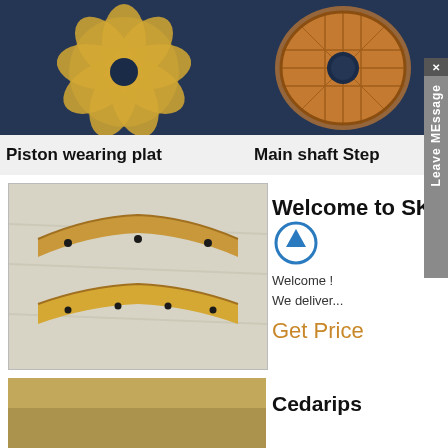[Figure (photo): Gold/brass piston wearing plate with flower-petal pattern and central hole, on dark blue background]
[Figure (photo): Copper/gold main shaft step disc with grid pattern and central hole, on dark blue background]
Piston wearing plat
Main shaft Step
[Figure (photo): Two curved brass/bronze bracket pieces with bolt holes, on white fabric background]
Welcome to SKF
Welcome ! We deliver...
Get Price
[Figure (photo): Partial view of gold/brass curved part on light background]
Cedarips